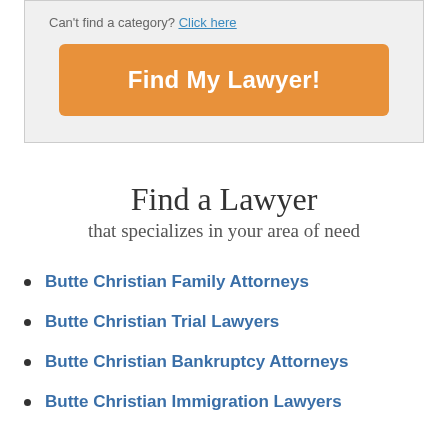Can't find a category? Click here
Find My Lawyer!
Find a Lawyer
that specializes in your area of need
Butte Christian Family Attorneys
Butte Christian Trial Lawyers
Butte Christian Bankruptcy Attorneys
Butte Christian Immigration Lawyers